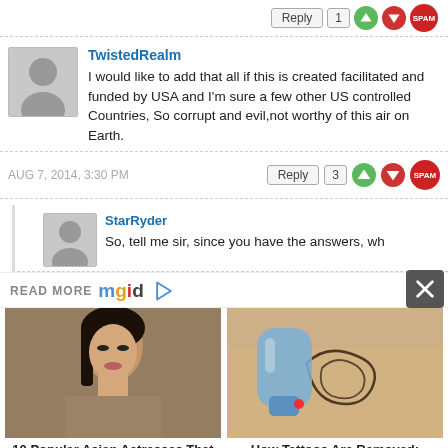Reply | 1 [up] [down] [spam]
TwistedRealm
I would like to add that all if this is created facilitated and funded by USA and I'm sure a few other US controlled Countries, So corrupt and evil,not worthy of this air on Earth.
AUG 7, 2014, 3:30 PM | Reply | 3 [up] [down] [spam]
StarRyder
So, tell me sir, since you have the answers, wh...
READ MORE mgid
[Figure (photo): Photo of a woman, dark hair, heavy eye makeup]
10 Popular Asian Actresses That Look Irresistible
[Figure (photo): Photo of a tattoo being removed with laser equipment]
How Tattoos Are Removed: Everything You Need To Know